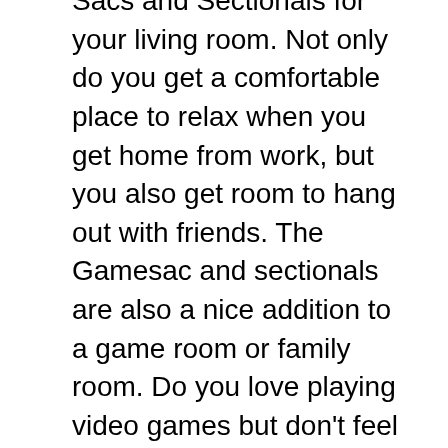Sacs and Sectionals for your living room. Not only do you get a comfortable place to relax when you get home from work, but you also get room to hang out with friends. The Gamesac and sectionals are also a nice addition to a game room or family room. Do you love playing video games but don't feel comfortable in a gaming chair? You can get both comfort and support from a Sac, which lets you play for hours.
You can also use this furniture in your bedroom or spare room. Many people have small bedrooms that only have enough space for a bed. If you replace your bed with the Pillowsac